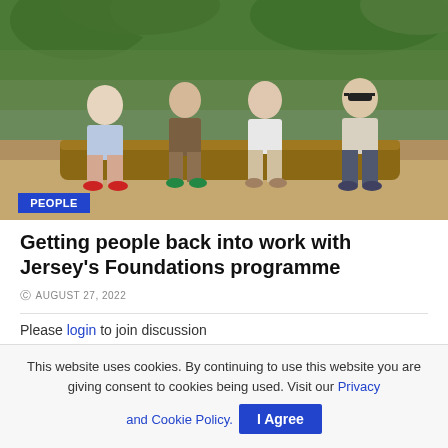[Figure (photo): Four people (three men and one younger person) sitting on a large log in an outdoor woodland/forest setting. They are casually dressed. A blue label 'PEOPLE' appears in the lower left of the image.]
Getting people back into work with Jersey's Foundations programme
AUGUST 27, 2022
Please login to join discussion
This website uses cookies. By continuing to use this website you are giving consent to cookies being used. Visit our Privacy and Cookie Policy.